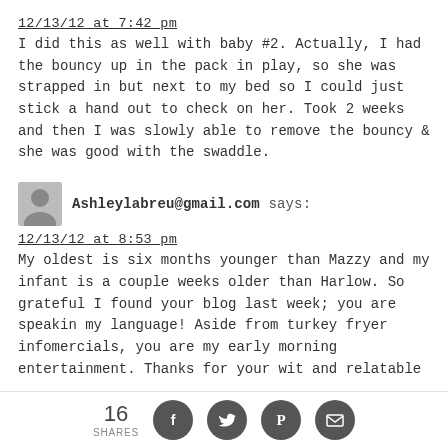12/13/12 at 7:42 pm
I did this as well with baby #2. Actually, I had the bouncy up in the pack in play, so she was strapped in but next to my bed so I could just stick a hand out to check on her. Took 2 weeks and then I was slowly able to remove the bouncy & she was good with the swaddle.
Ashleylabreu@gmail.com says:
12/13/12 at 8:53 pm
My oldest is six months younger than Mazzy and my infant is a couple weeks older than Harlow. So grateful I found your blog last week; you are speakin my language! Aside from turkey fryer infomercials, you are my early morning entertainment. Thanks for your wit and relatable
16 SHARES